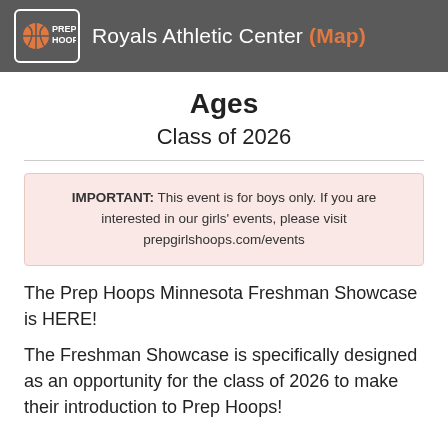Royals Athletic Center (Map)
Ages
Class of 2026
IMPORTANT: This event is for boys only. If you are interested in our girls' events, please visit prepgirlshoops.com/events
The Prep Hoops Minnesota Freshman Showcase is HERE!
The Freshman Showcase is specifically designed as an opportunity for the class of 2026 to make their introduction to Prep Hoops!